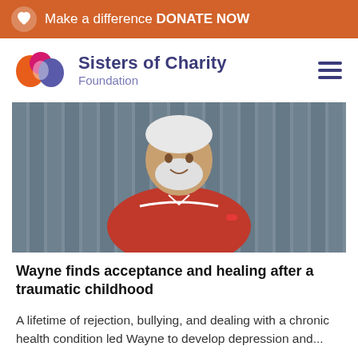Make a difference DONATE NOW
Sisters of Charity Foundation
[Figure (photo): An older man with white hair and beard wearing a red polo shirt, arms crossed, smiling, standing in front of grey curtain/corrugated background.]
Wayne finds acceptance and healing after a traumatic childhood
A lifetime of rejection, bullying, and dealing with a chronic health condition led Wayne to develop depression and...